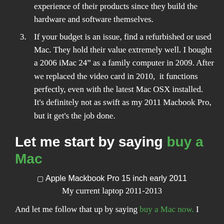experience of their products since they build the hardware and software themselves.
3. If your budget is an issue, find a refurbished or used Mac. They hold their value extremely well. I bought a 2006 iMac 24” as a family computer in 2009. After we replaced the video card in 2010, it functions perfectly, even with the latest Mac OSX installed. It's definitely not as swift as my 2011 Macbook Pro, but it get's the job done.
Let me start by saying buy a Mac
[Figure (photo): Apple Mackbook Pro 15 inch early 2011 - broken/missing image placeholder]
My current laptop 2011-2013
And let me follow that up by saying buy a Mac now. I